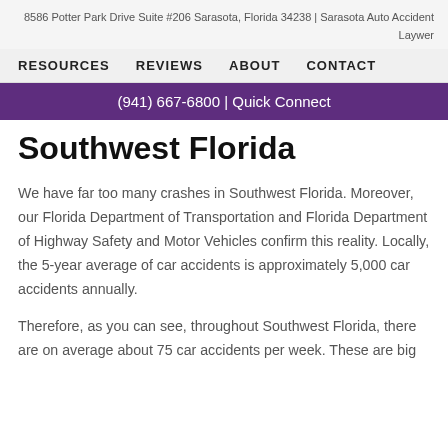8586 Potter Park Drive Suite #206 Sarasota, Florida 34238 | Sarasota Auto Accident Laywer
RESOURCES   REVIEWS   ABOUT   CONTACT
(941) 667-6800 | Quick Connect
Southwest Florida
We have far too many crashes in Southwest Florida. Moreover, our Florida Department of Transportation and Florida Department of Highway Safety and Motor Vehicles confirm this reality. Locally, the 5-year average of car accidents is approximately 5,000 car accidents annually.
Therefore, as you can see, throughout Southwest Florida, there are on average about 75 car accidents per week. These are big